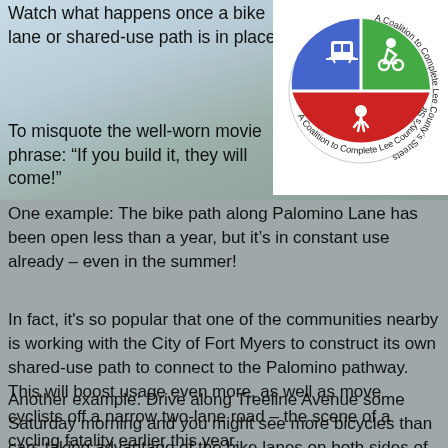Watch what happens once a bike lane or shared-use path is in place.
To misquote the well-worn movie phrase: “If you build it, they will come!”
[Figure (logo): Bike/Walk Lee logo - a circular pie chart divided into three sections (blue with train icon, green with cyclist icon, red with pedestrian icon) with text 'A Coalition to Complete Lee County's Streets' around the border]
One example: The bike path along Palomino Lane has been open less than a year, but it’s in constant use already – even in the summer!
In fact, it's so popular that one of the communities nearby is working with the City of Fort Myers to construct its own shared-use path to connect to the Palomino pathway. This will boost usage even more, as well as move cyclists off a narrow two-lane road – the scene of a cycling fatality earlier this year.
Another example: Drive along Treeline Avenue some Saturday morning and you might see more bicycles than cars taking advantage of the bike lanes on both sides of the